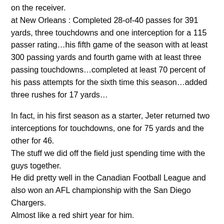on the receiver.
at New Orleans : Completed 28-of-40 passes for 391 yards, three touchdowns and one interception for a 115 passer rating…his fifth game of the season with at least 300 passing yards and fourth game with at least three passing touchdowns…completed at least 70 percent of his pass attempts for the sixth time this season…added three rushes for 17 yards…
In fact, in his first season as a starter, Jeter returned two interceptions for touchdowns, one for 75 yards and the other for 46.
The stuff we did off the field just spending time with the guys together.
He did pretty well in the Canadian Football League and also won an AFL championship with the San Diego Chargers.
Almost like a red shirt year for him.
She went to Super Bowl…